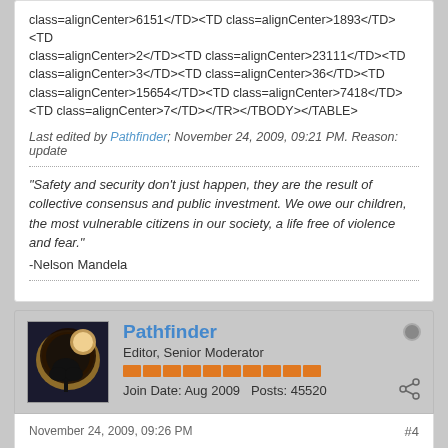class=alignCenter>6151</TD><TD class=alignCenter>1893</TD><TD class=alignCenter>2</TD><TD class=alignCenter>23111</TD><TD class=alignCenter>3</TD><TD class=alignCenter>36</TD><TD class=alignCenter>15654</TD><TD class=alignCenter>7418</TD><TD class=alignCenter>7</TD></TR></TBODY></TABLE>
Last edited by Pathfinder; November 24, 2009, 09:21 PM. Reason: update
"Safety and security don't just happen, they are the result of collective consensus and public investment. We owe our children, the most vulnerable citizens in our society, a life free of violence and fear." -Nelson Mandela
Pathfinder
Editor, Senior Moderator
Join Date: Aug 2009   Posts: 45520
November 24, 2009, 09:26 PM
#4
Re: Canada - FluWatch Pandemic (H1N1) 2009 virus Surveillance Week 45